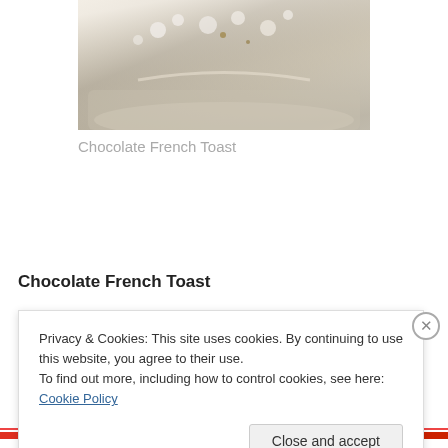[Figure (photo): Close-up photo of Chocolate French Toast in a baking dish, showing bread with white/cream topping, partially cropped at top]
Chocolate French Toast
Chocolate French Toast
3 eggs
Privacy & Cookies: This site uses cookies. By continuing to use this website, you agree to their use.
To find out more, including how to control cookies, see here: Cookie Policy
Close and accept